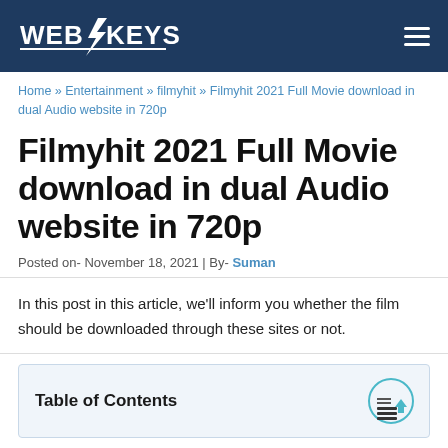WEBINKEYS
Home » Entertainment » filmyhit » Filmyhit 2021 Full Movie download in dual Audio website in 720p
Filmyhit 2021 Full Movie download in dual Audio website in 720p
Posted on- November 18, 2021 | By- Suman
In this post in this article, we'll inform you whether the film should be downloaded through these sites or not.
Table of Contents